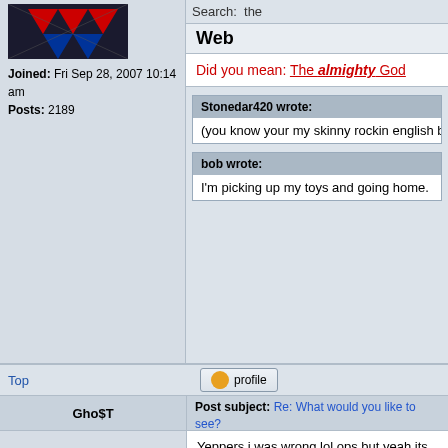[Figure (photo): User avatar image with red and blue graphic design]
Joined: Fri Sep 28, 2007 10:14 am
Posts: 2189
Search: the
Web
Did you mean: The almighty God
Stonedar420 wrote:
(you know your my skinny rockin english b
bob wrote:
I'm picking up my toys and going home.
Top
profile
Post subject: Re: What would you like to see?
Posted: Mon Apr 12, 2010 5:51 pm
Gho$T
Yeppers i was wrong lol ops but yeah its out iv-multiplayer.com dedicated servers for GTA IV going to hop on one tonight and see what its like